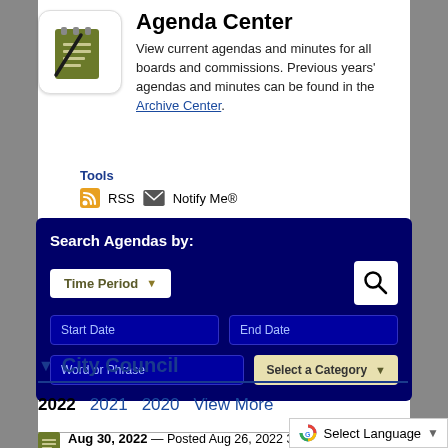[Figure (logo): Agenda Center notepad icon with pencil on olive/dark background]
Agenda Center
View current agendas and minutes for all boards and commissions. Previous years' agendas and minutes can be found in the Archive Center.
Tools
RSS  Notify Me®
Search Agendas by: Time Period  Start Date  End Date  Word or Phrase  Select a Category
▼ City Council
2022  2021  2020  View More
Aug 30, 2022 — Posted Aug 26, 2022 3:45 PM
Special Called City Council M